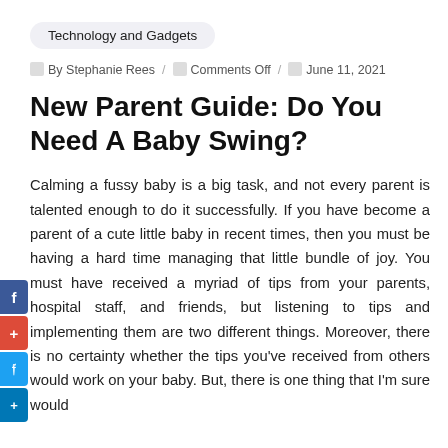Technology and Gadgets
By Stephanie Rees / Comments Off / June 11, 2021
New Parent Guide: Do You Need A Baby Swing?
Calming a fussy baby is a big task, and not every parent is talented enough to do it successfully. If you have become a parent of a cute little baby in recent times, then you must be having a hard time managing that little bundle of joy. You must have received a myriad of tips from your parents, hospital staff, and friends, but listening to tips and implementing them are two different things. Moreover, there is no certainty whether the tips you've received from others would work on your baby. But, there is one thing that I'm sure would